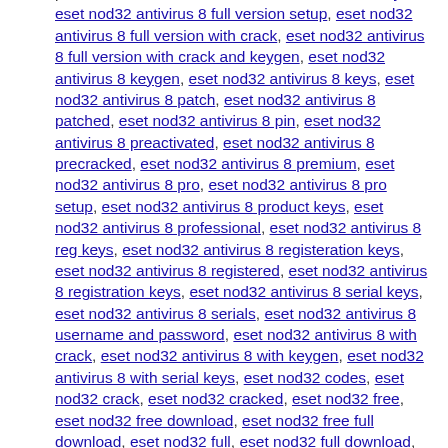patch, eset nod32 antivirus 8 full version serial keys, eset nod32 antivirus 8 full version setup, eset nod32 antivirus 8 full version with crack, eset nod32 antivirus 8 full version with crack and keygen, eset nod32 antivirus 8 keygen, eset nod32 antivirus 8 keys, eset nod32 antivirus 8 patch, eset nod32 antivirus 8 patched, eset nod32 antivirus 8 pin, eset nod32 antivirus 8 preactivated, eset nod32 antivirus 8 precracked, eset nod32 antivirus 8 premium, eset nod32 antivirus 8 pro, eset nod32 antivirus 8 pro setup, eset nod32 antivirus 8 product keys, eset nod32 antivirus 8 professional, eset nod32 antivirus 8 reg keys, eset nod32 antivirus 8 registeration keys, eset nod32 antivirus 8 registered, eset nod32 antivirus 8 registration keys, eset nod32 antivirus 8 serial keys, eset nod32 antivirus 8 serials, eset nod32 antivirus 8 username and password, eset nod32 antivirus 8 with crack, eset nod32 antivirus 8 with keygen, eset nod32 antivirus 8 with serial keys, eset nod32 codes, eset nod32 crack, eset nod32 cracked, eset nod32 free, eset nod32 free download, eset nod32 free full download, eset nod32 full, eset nod32 full download, eset nod32 full setup, eset nod32 full version, eset nod32 full